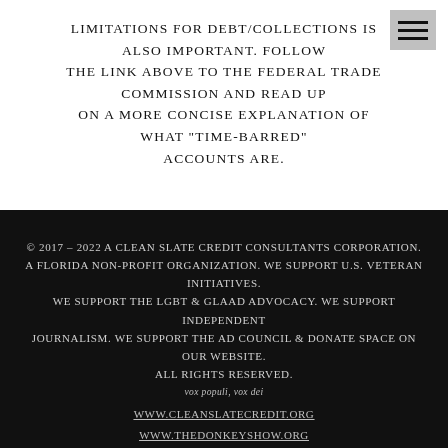limitations for debt/collections is also important. Follow the link above to the Federal trade commission and read up on a more concise explanation of what "Time-Barred" accounts are.
© 2017 – 2022 A Clean Slate Credit Consultants Corporation. A Florida non-profit organization. We support U.S. Veteran initiatives. We support the LGBT & GLAAD Advocacy. We Support Independent Journalism. We support the Ad Council & donate space on our website. All rights reserved.
vox populi, vox dei
www.cleanslatecredit.org
www.thedonkeyshow.org
www.acleanslatecredit.com